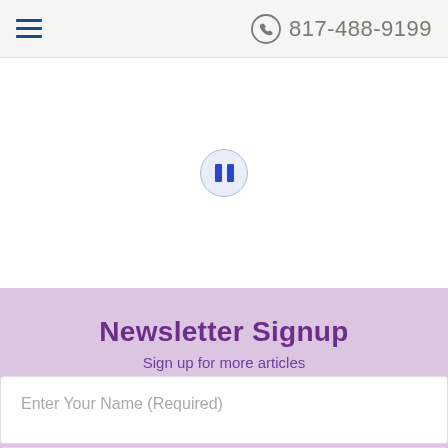☰  817-488-9199
[Figure (other): Pause button icon — circular button with two vertical blue bars on a light blue/grey background, centered in white hero area]
Newsletter Signup
Sign up for more articles
Enter Your Name (Required)
Enter Email (Required)
Accessibility View